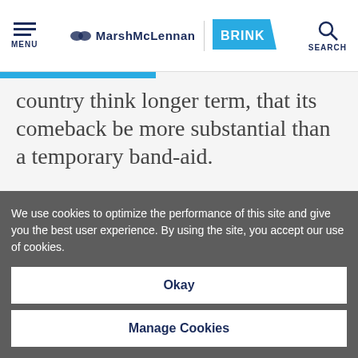MENU | MarshMcLennan BRINK | SEARCH
country think longer term, that its comeback be more substantial than a temporary band-aid.
The president insisted that the
We use cookies to optimize the performance of this site and give you the best user experience. By using the site, you accept our use of cookies.
Okay
Manage Cookies